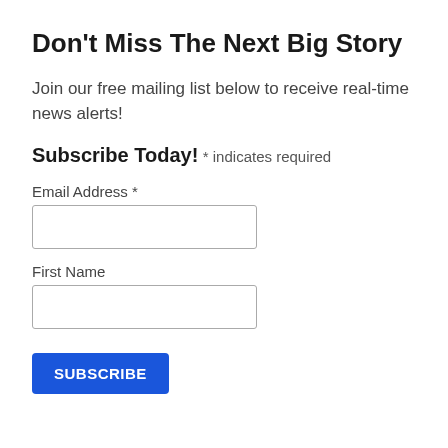Don’t Miss The Next Big Story
Join our free mailing list below to receive real-time news alerts!
Subscribe Today!
* indicates required
Email Address *
First Name
SUBSCRIBE